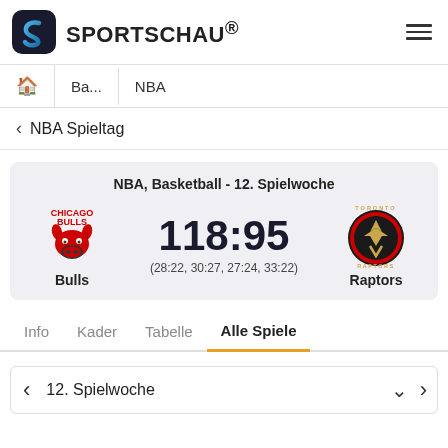SPORTSCHAU®
Ba... | NBA
< NBA Spieltag
NBA, Basketball - 12. Spielwoche
118:95
(28:22, 30:27, 27:24, 33:22)
Bulls  Raptors
Info  Kader  Tabelle  Alle Spiele
12. Spielwoche